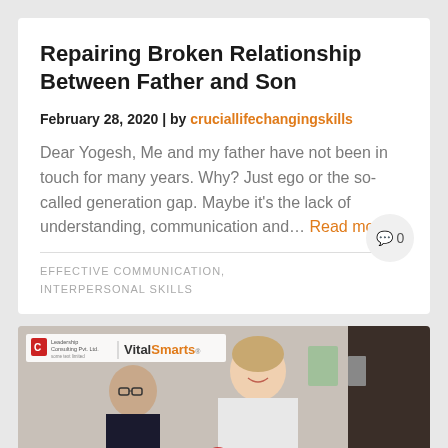Repairing Broken Relationship Between Father and Son
February 28, 2020 | by cruciallifechangingskills
Dear Yogesh, Me and my father have not been in touch for many years. Why? Just ego or the so-called generation gap. Maybe it's the lack of understanding, communication and… Read more
0
EFFECTIVE COMMUNICATION, INTERPERSONAL SKILLS
[Figure (photo): Photo showing two people in conversation with a smiling woman in the center, with VitalSmarts and Leadership Consulting Pvt. Ltd. logo visible in the top left]